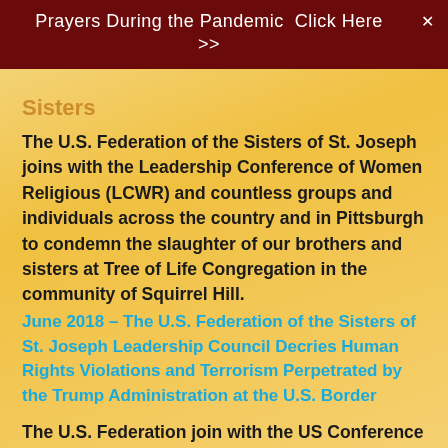Prayers During the Pandemic  Click Here >>
Sisters of St. Joseph (partial, cropped)
The U.S. Federation of the Sisters of St. Joseph joins with the Leadership Conference of Women Religious (LCWR) and countless groups and individuals across the country and in Pittsburgh to condemn the slaughter of our brothers and sisters at Tree of Life Congregation in the community of Squirrel Hill.
June 2018 – The U.S. Federation of the Sisters of St. Joseph Leadership Council Decries Human Rights Violations and Terrorism Perpetrated by the Trump Administration at the U.S. Border
The U.S. Federation join with the US Conference